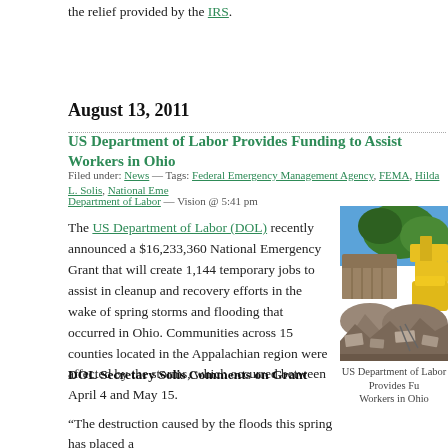the relief provided by the IRS.
August 13, 2011
US Department of Labor Provides Funding to Assist Workers in Ohio
Filed under: News — Tags: Federal Emergency Management Agency, FEMA, Hilda L. Solis, National Emergency Department of Labor — Vision @ 5:41 pm
The US Department of Labor (DOL) recently announced a $16,233,360 National Emergency Grant that will create 1,144 temporary jobs to assist in cleanup and recovery efforts in the wake of spring storms and flooding that occurred in Ohio. Communities across 15 counties located in the Appalachian region were affected by the storms, which occurred between April 4 and May 15.
[Figure (photo): Yellow excavator and dump truck clearing debris after flooding in Ohio, with trees and blue sky in background]
US Department of Labor Provides Fu... Workers in Ohio
DOL Secretary Solis Comments on Grant
“The destruction caused by the floods this spring has placed a